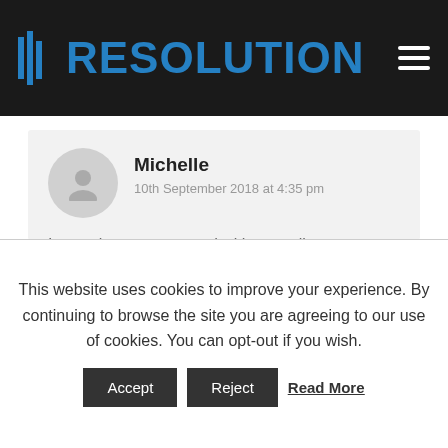RESOLUTION
Michelle
10th September 2018 at 4:35 pm

I was always concerned with my online marketing, I appreciate you putting this blog up. Great help.

Reply
This website uses cookies to improve your experience. By continuing to browse the site you are agreeing to our use of cookies. You can opt-out if you wish.
Accept  Reject  Read More